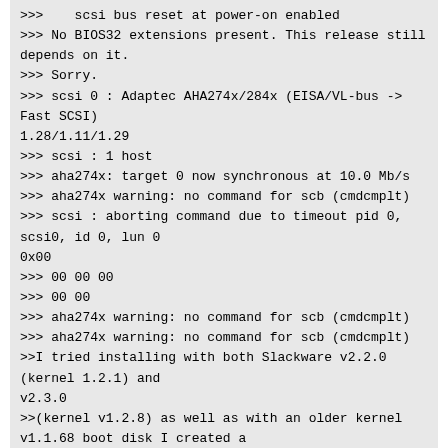>>> scsi bus reset at power-on enabled
>>> No BIOS32 extensions present. This release still depends on it.
>>> Sorry.
>>> scsi 0 : Adaptec AHA274x/284x (EISA/VL-bus -> Fast SCSI) 1.28/1.11/1.29
>>> scsi : 1 host
>>> aha274x: target 0 now synchronous at 10.0 Mb/s
>>> aha274x warning: no command for scb (cmdcmplt)
>>> scsi : aborting command due to timeout pid 0, scsi0, id 0, lun 0 0x00
>>> 00 00 00
>>> 00 00
>>> aha274x warning: no command for scb (cmdcmplt)
>>> aha274x warning: no command for scb (cmdcmplt)
>>I tried installing with both Slackware v2.2.0 (kernel 1.2.1) and v2.3.0
>>(kernel v1.2.8) as well as with an older kernel v1.1.68 boot disk I created a
>>long time ago.  Each time I got the same screen ...
the above story is the same for me I have a nexgen 586 p-90 with a adaptec 2842 scsi card and I am getting the same error.  Anyone out there fix this problem yet?  or am I out of luck running linux?